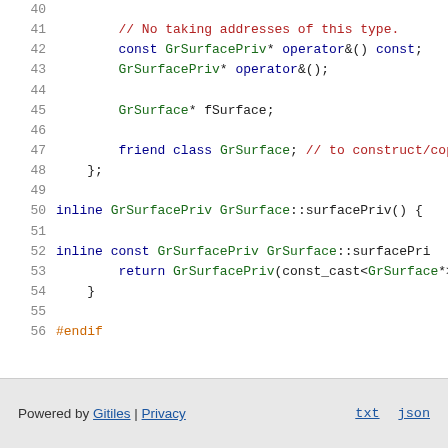Source code snippet: lines 40-56 of a C++ header file showing GrSurfacePriv class members and inline functions
Powered by Gitiles | Privacy   txt  json